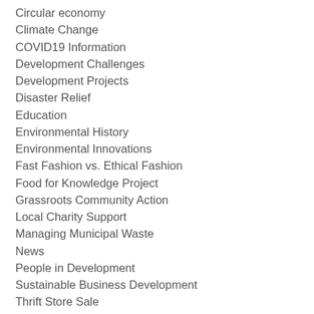Circular economy
Climate Change
COVID19 Information
Development Challenges
Development Projects
Disaster Relief
Education
Environmental History
Environmental Innovations
Fast Fashion vs. Ethical Fashion
Food for Knowledge Project
Grassroots Community Action
Local Charity Support
Managing Municipal Waste
News
People in Development
Sustainable Business Development
Thrift Store Sale
Tips for a Greener Lifestyle